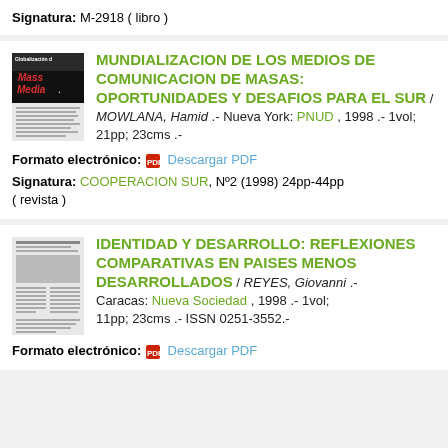Signatura: M-2918 ( libro )
[Figure (illustration): Thumbnail of book cover: Globalizacion de Mass Media]
MUNDIALIZACION DE LOS MEDIOS DE COMUNICACION DE MASAS: OPORTUNIDADES Y DESAFIOS PARA EL SUR / MOWLANA, Hamid .- Nueva York: PNUD , 1998 .- 1vol; 21pp; 23cms .-
Formato electrónico: Descargar PDF
Signatura: COOPERACION SUR, Nº2 (1998) 24pp-44pp ( revista )
[Figure (illustration): Thumbnail of article pages: Identidad y Desarrollo]
IDENTIDAD Y DESARROLLO: REFLEXIONES COMPARATIVAS EN PAISES MENOS DESARROLLADOS / REYES, Giovanni .- Caracas: Nueva Sociedad , 1998 .- 1vol; 11pp; 23cms .- ISSN 0251-3552.-
Formato electrónico: Descargar PDF